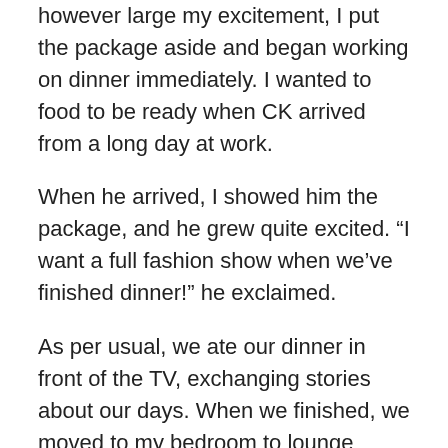however large my excitement, I put the package aside and began working on dinner immediately. I wanted to food to be ready when CK arrived from a long day at work.
When he arrived, I showed him the package, and he grew quite excited. “I want a full fashion show when we’ve finished dinner!” he exclaimed.
As per usual, we ate our dinner in front of the TV, exchanging stories about our days. When we finished, we moved to my bedroom to lounge about. While he laid on the bed, I began to strip so I could model my new wares for him. As I moved from pair to pair, CK must have felt left out and asked if he could try some of them on. I asked that he not do so. I knew I’d want to include pictures of myself in them for the post, and I didn’t want anything to happen to them until I had time to snap the pictures. I’m not sure